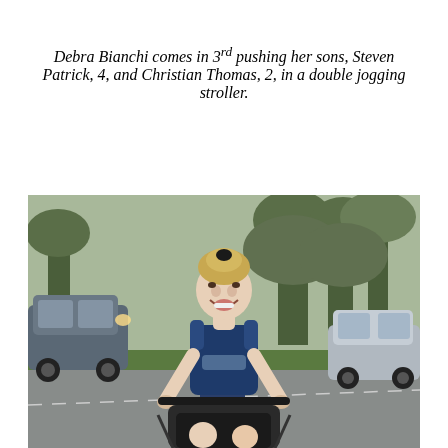Debra Bianchi comes in 3rd pushing her sons, Steven Patrick, 4, and Christian Thomas, 2, in a double jogging stroller.
[Figure (photo): A woman in a navy blue sleeveless athletic top, smiling/grimacing with effort, pushing a double jogging stroller down a road during a race. Cars and trees are visible in the background.]